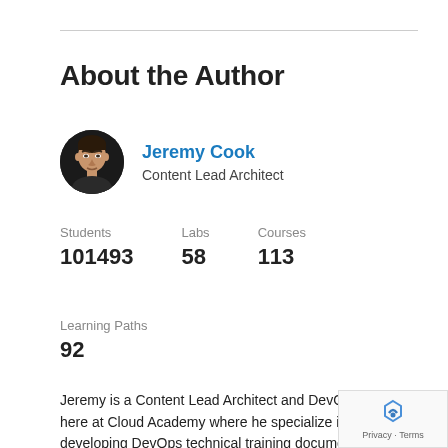About the Author
[Figure (photo): Circular avatar photo of Jeremy Cook, a man with dark hair against dark background]
Jeremy Cook
Content Lead Architect
Students 101493
Labs 58
Courses 113
Learning Paths 92
Jeremy is a Content Lead Architect and DevOps SME here at Cloud Academy where he specialize in developing DevOps technical training documentation.